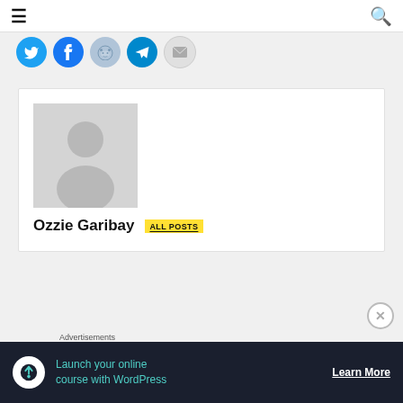≡  [search icon]
[Figure (infographic): Row of social share button icons: Twitter (blue), Facebook (blue), Reddit (light blue), Telegram (dark blue), Email (grey)]
[Figure (photo): Author card with grey placeholder avatar silhouette]
Ozzie Garibay  ALL POSTS
Advertisements
[Figure (infographic): Dark advertisement banner: Launch your online course with WordPress — Learn More]